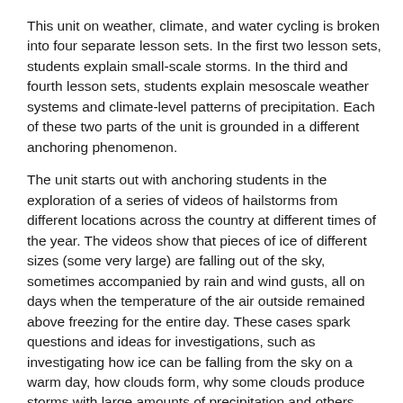This unit on weather, climate, and water cycling is broken into four separate lesson sets. In the first two lesson sets, students explain small-scale storms. In the third and fourth lesson sets, students explain mesoscale weather systems and climate-level patterns of precipitation. Each of these two parts of the unit is grounded in a different anchoring phenomenon.
The unit starts out with anchoring students in the exploration of a series of videos of hailstorms from different locations across the country at different times of the year. The videos show that pieces of ice of different sizes (some very large) are falling out of the sky, sometimes accompanied by rain and wind gusts, all on days when the temperature of the air outside remained above freezing for the entire day. These cases spark questions and ideas for investigations, such as investigating how ice can be falling from the sky on a warm day, how clouds form, why some clouds produce storms with large amounts of precipitation and others don't, and how all that water gets into the air in the first place.
The second half of the unit is anchored in the exploration of a weather report of a winter storm that affected large portions of the midwestern United States. The maps, transcripts, and video that students analyze show them that the storm was forecasted to